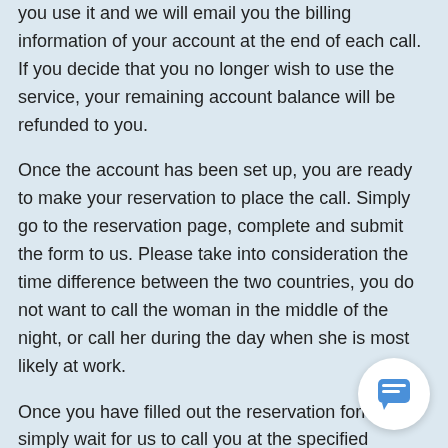you use it and we will email you the billing information of your account at the end of each call. If you decide that you no longer wish to use the service, your remaining account balance will be refunded to you.
Once the account has been set up, you are ready to make your reservation to place the call. Simply go to the reservation page, complete and submit the form to us. Please take into consideration the time difference between the two countries, you do not want to call the woman in the middle of the night, or call her during the day when she is most likely at work.
Once you have filled out the reservation form, simply wait for us to call you at the specified number you supplied to us and at the appointed time. Once we have you on the line, we will then call the person you wish to speak with, using conference calling or Skype Video Conferencing.
[Figure (other): Chat bubble icon button in bottom-right corner — white circle with a blue speech bubble icon inside]